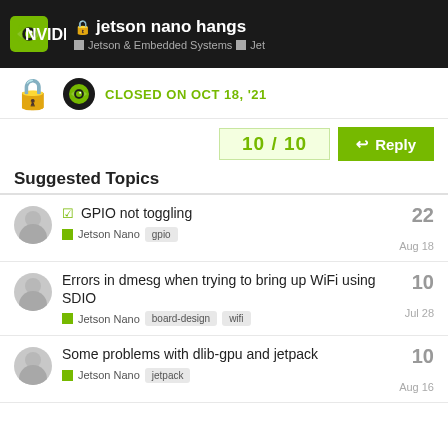jetson nano hangs — Jetson & Embedded Systems > Jet
CLOSED ON OCT 18, '21
10 / 10
Reply
Suggested Topics
GPIO not toggling | Jetson Nano | gpio | 22 | Aug 18
Errors in dmesg when trying to bring up WiFi using SDIO | Jetson Nano | board-design | wifi | 10 | Jul 28
Some problems with dlib-gpu and jetpack | Jetson Nano | jetpack | 10 | Aug 16